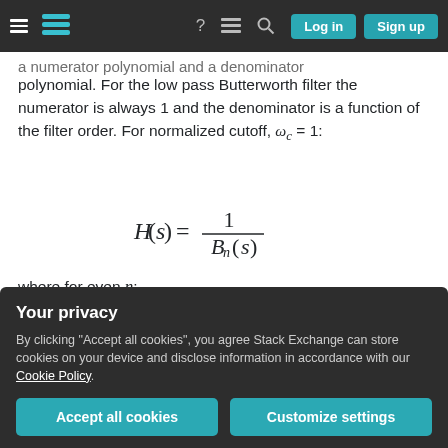Navigation bar with hamburger, logo, question mark, list, search icons, Log in and Sign up buttons
a numerator polynomial and a denominator polynomial. For the low pass Butterworth filter the numerator is always 1 and the denominator is a function of the filter order. For normalized cutoff, ω_c = 1:
where for even n:
n/2 (partially visible)
Your privacy
By clicking "Accept all cookies", you agree Stack Exchange can store cookies on your device and disclose information in accordance with our Cookie Policy.
(n-1)/2 product formula with 2k+n-1 (partially visible at bottom)